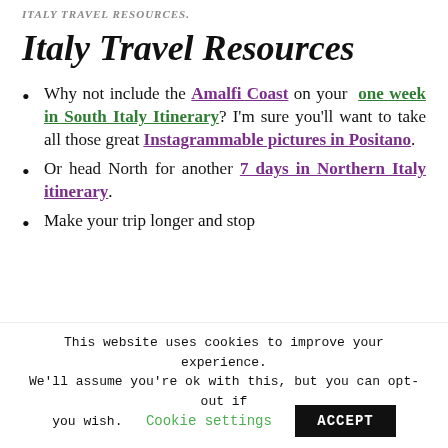ITALY TRAVEL RESOURCES
Italy Travel Resources
Why not include the Amalfi Coast on your one week in South Italy Itinerary? I'm sure you'll want to take all those great Instagrammable pictures in Positano.
Or head North for another 7 days in Northern Italy itinerary.
Make your trip longer and stop
This website uses cookies to improve your experience. We'll assume you're ok with this, but you can opt-out if you wish. Cookie settings ACCEPT